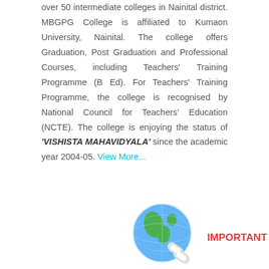over 50 intermediate colleges in Nainital district. MBGPG College is affiliated to Kumaon University, Nainital. The college offers Graduation, Post Graduation and Professional Courses, including Teachers' Training Programme (B Ed). For Teachers' Training Programme, the college is recognised by National Council for Teachers' Education (NCTE). The college is enjoying the status of 'VISHISTA MAHAVIDYALA' since the academic year 2004-05. View More...
[Figure (illustration): Globe icon with chain links, representing internet/important links]
IMPORTANT LINKS: